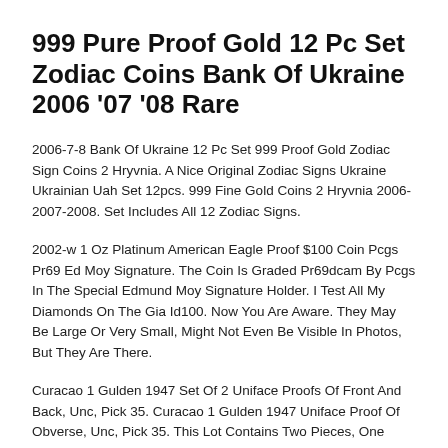999 Pure Proof Gold 12 Pc Set Zodiac Coins Bank Of Ukraine 2006 '07 '08 Rare
2006-7-8 Bank Of Ukraine 12 Pc Set 999 Proof Gold Zodiac Sign Coins 2 Hryvnia. A Nice Original Zodiac Signs Ukraine Ukrainian Uah Set 12pcs. 999 Fine Gold Coins 2 Hryvnia 2006-2007-2008. Set Includes All 12 Zodiac Signs.
2002-w 1 Oz Platinum American Eagle Proof $100 Coin Pcgs Pr69 Ed Moy Signature. The Coin Is Graded Pr69dcam By Pcgs In The Special Edmund Moy Signature Holder. I Test All My Diamonds On The Gia Id100. Now You Are Aware. They May Be Large Or Very Small, Might Not Even Be Visible In Photos, But They Are There.
Curacao 1 Gulden 1947 Set Of 2 Uniface Proofs Of Front And Back, Unc, Pick 35. Curacao 1 Gulden 1947 Uniface Proof Of Obverse, Unc, Pick 35. This Lot Contains Two Pieces, One Uniface Of Obverse, One Uniface Of Reverse. Curacao 1 Gulden 1947 Uniface Proof Of Reverse, Unc, Pick 35.
2018-w Life $100 1oz Proof Platinum Eagle Ngc Pf69 Uc...